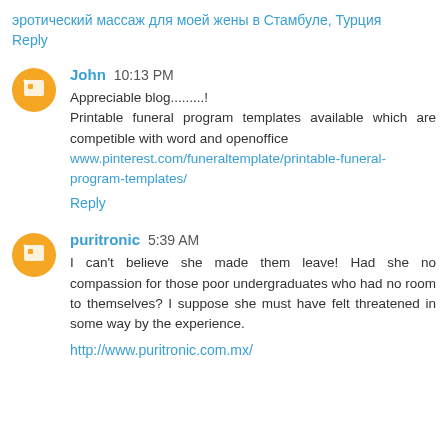эротический массаж для моей жены в Стамбуле, Турция
Reply
John  10:13 PM
Appreciable blog.........!
Printable funeral program templates available which are competible with word and openoffice
www.pinterest.com/funeraltemplate/printable-funeral-program-templates/
Reply
puritronic  5:39 AM
I can't believe she made them leave! Had she no compassion for those poor undergraduates who had no room to themselves? I suppose she must have felt threatened in some way by the experience.
http://www.puritronic.com.mx/